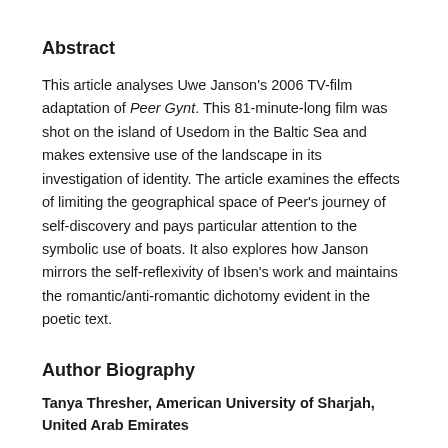Abstract
This article analyses Uwe Janson's 2006 TV-film adaptation of Peer Gynt. This 81-minute-long film was shot on the island of Usedom in the Baltic Sea and makes extensive use of the landscape in its investigation of identity. The article examines the effects of limiting the geographical space of Peer's journey of self-discovery and pays particular attention to the symbolic use of boats. It also explores how Janson mirrors the self-reflexivity of Ibsen's work and maintains the romantic/anti-romantic dichotomy evident in the poetic text.
Author Biography
Tanya Thresher, American University of Sharjah, United Arab Emirates